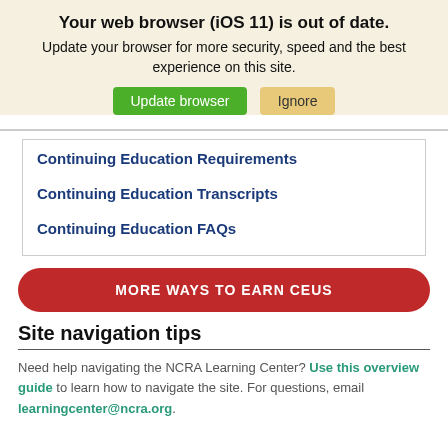Your web browser (iOS 11) is out of date.
Update your browser for more security, speed and the best experience on this site.
Continuing Education Requirements
Continuing Education Transcripts
Continuing Education FAQs
MORE WAYS TO EARN CEUS
Site navigation tips
Need help navigating the NCRA Learning Center? Use this overview guide to learn how to navigate the site. For questions, email learningcenter@ncra.org.